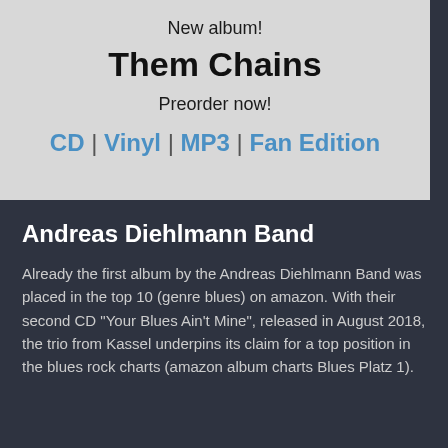New album!
Them Chains
Preorder now!
CD | Vinyl | MP3 | Fan Edition
Andreas Diehlmann Band
Already the first album by the Andreas Diehlmann Band was placed in the top 10 (genre blues) on amazon. With their second CD "Your Blues Ain't Mine", released in August 2018, the trio from Kassel underpins its claim for a top position in the blues rock charts (amazon album charts Blues Platz 1).